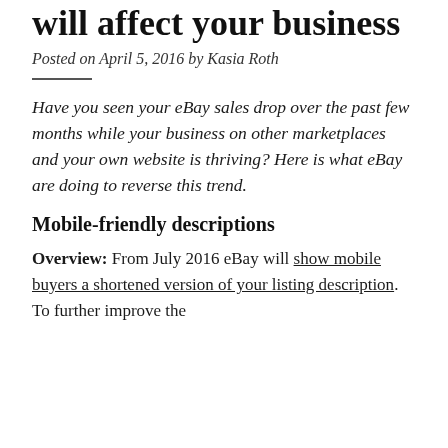will affect your business
Posted on April 5, 2016 by Kasia Roth
Have you seen your eBay sales drop over the past few months while your business on other marketplaces and your own website is thriving? Here is what eBay are doing to reverse this trend.
Mobile-friendly descriptions
Overview: From July 2016 eBay will show mobile buyers a shortened version of your listing description. To further improve the